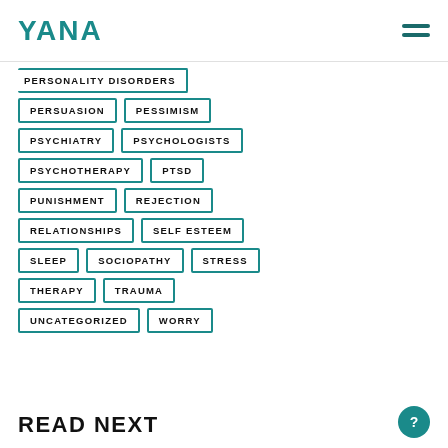YANA
PERSONALITY DISORDERS
PERSUASION
PESSIMISM
PSYCHIATRY
PSYCHOLOGISTS
PSYCHOTHERAPY
PTSD
PUNISHMENT
REJECTION
RELATIONSHIPS
SELF ESTEEM
SLEEP
SOCIOPATHY
STRESS
THERAPY
TRAUMA
UNCATEGORIZED
WORRY
READ NEXT